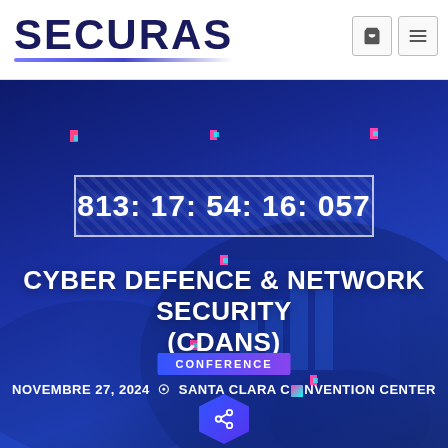SECURAS
[Figure (screenshot): Hero banner with dark blue gradient background, person using tablet, glitch pixel decorations, countdown timer box, conference title, and event details]
CYBER DEFENCE & NETWORK SECURITY (CDANS)
CONFERENCE
NOVEMBRE 27, 2024  ⊙  SANTA CLARA CONVENTION CENTER